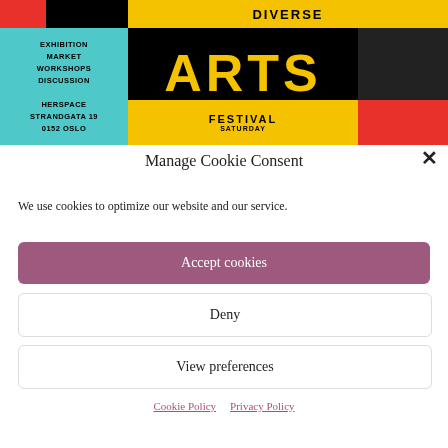[Figure (illustration): Diverse Arts Festival promotional banner with colorful design featuring teal, yellow, red, and black sections. Text reads EXHIBITION MARKET WORKSHOPS DISCUSSION / HERSPACE STRANDGATA 19 0152 OSLO / DIVERSE ARTS FESTIVAL SATURDAY]
Manage Cookie Consent
We use cookies to optimize our website and our service.
Accept cookies
Deny
View preferences
Cookie Policy   Privacy Policy